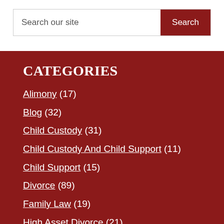Search our site
CATEGORIES
Alimony (17)
Blog (32)
Child Custody (31)
Child Custody And Child Support (11)
Child Support (15)
Divorce (89)
Family Law (19)
High Asset Divorce (21)
Legal Separation (5)